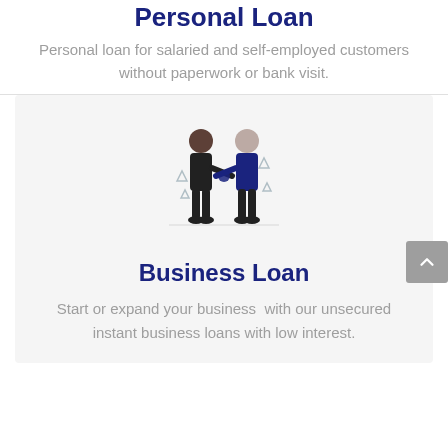Personal Loan
Personal loan for salaried and self-employed customers without paperwork or bank visit.
[Figure (illustration): Two people shaking hands illustration, representing a business deal or loan agreement, with small decorative elements around them.]
Business Loan
Start or expand your business with our unsecured instant business loans with low interest.